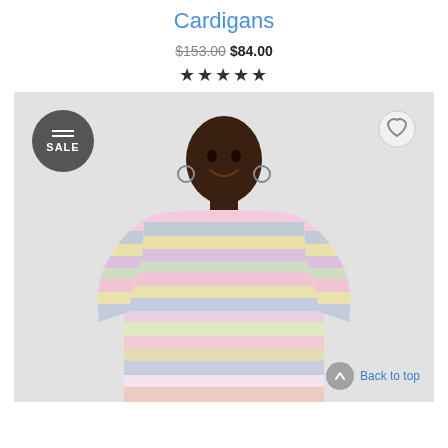Cardigans
$153.00 $84.00
★★★★★
[Figure (photo): A woman wearing a pastel multicolored striped knit sweater against a light gray background. A SALE badge appears in the top-left corner of the image and a heart/wishlist icon in the top-right. A 'Back to top' button appears in the bottom-right.]